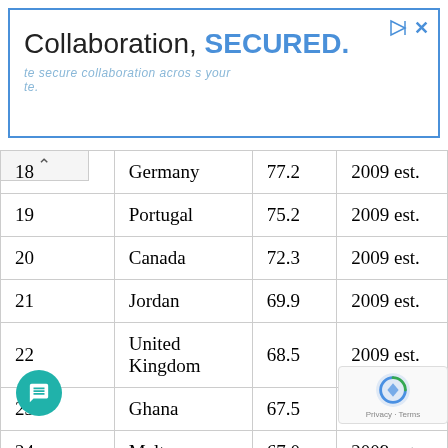[Figure (other): Advertisement banner: 'Collaboration, SECURED.' with blue border and subtitle text about secure collaboration]
| 18 | Germany | 77.2 | 2009 est. |
| 19 | Portugal | 75.2 | 2009 est. |
| 20 | Canada | 72.3 | 2009 est. |
| 21 | Jordan | 69.9 | 2009 est. |
| 22 | United Kingdom | 68.5 | 2009 est. |
| 23 | Ghana | 67.5 | 2009 est. |
| 24 | Malta | 67.0 | 2009 est. |
| 25 | Austria | 66.5 | 2009 est. |